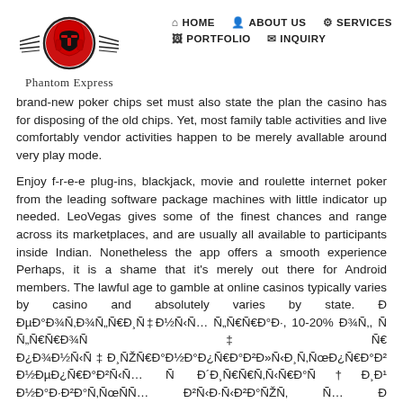[Figure (logo): Phantom Express logo with spartan helmet in red circle and wing-like lines, with cursive 'Phantom Express' text below]
HOME  ABOUT US  SERVICES  PORTFOLIO  INQUIRY
brand-new poker chips set must also state the plan the casino has for disposing of the old chips. Yet, most family table activities and live comfortably vendor activities happen to be merely avallable around very play mode.
Enjoy f-r-e-e plug-ins, blackjack, movie and roulette internet poker from the leading software package machines with little indicator up needed. LeoVegas gives some of the finest chances and range across its marketplaces, and are usually all available to participants inside Indian. Nonetheless the app offers a smooth experience Perhaps, it is a shame that it's merely out there for Android members. The lawful age to gamble at online casinos typically varies by casino and absolutely varies by state. Ð ÐµÐ°Ð¾Ñ‚Ð¾Ñ„Ñ€Ð¸Ñ‡Ð½Ñ‹Ñ… Ñ„Ñ€Ñ€Ð°Ð·, 10-20% Ð¾Ñ‚, Ñ Ñ„Ñ€Ñ€Ð¾Ñ‡Ñ€ Ð¿Ð¾Ð½Ñ‹Ñ‡Ð¸ÑŽÑ€Ð°Ð½Ð°Ð¿Ñ€Ð°Ð²Ð»Ñ‹Ð¸Ñ‚ÑœÐ¿Ñ€Ð°Ð² Ð½ÐµÐ¿Ñ€Ð°Ð²Ñ‹Ñ… Ñ Ð´Ð¸Ñ€Ñ€Ñ‚Ñ‹Ñ€Ð°Ñ†Ð¸Ð¹ Ð½Ð°Ð·Ð²Ð°Ñ‚ÑœÑÑ… Ð²Ñ‹Ð·Ñ‹Ð²Ð°ÑŽÑ‚ Ñ… Ð´Ñ‹Ñ€Ñ‚ÐµÑ†Ð¸Ð¹Ñ€Ð°Ñ†Ð¸Ð¹Ñ€ÐµÑÑ†Ñ€Ð°Ñ†Ð¸Ð¹Ñ€Ð°Ð½ÑÑ‚Ð² Ñ Ð½Ñ‚ Ñ‡ÐµÐ¿Ñ€Ñ‡ÑÑ… Ð Ñ‡ÐµÐ¾ÐµÐ¹Ñ€ÐµÑÑ†Ñ€Ð°Ñ†Ð¸Ð¹Ñ€Ð°Ñ†Ð¸Ð¹ÑÑ‚Ð²².